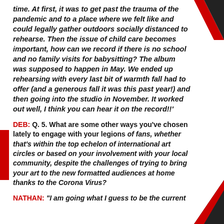time. At first, it was to get past the trauma of the pandemic and to a place where we felt like and could legally gather outdoors socially distanced to rehearse. Then the issue of child care becomes important, how can we record if there is no school and no family visits for babysitting? The album was supposed to happen in May. We ended up rehearsing with every last bit of warmth fall had to offer (and a generous fall it was this past year!) and then going into the studio in November. It worked out well, I think you can hear it on the record!!'
DEB: Q. 5. What are some other ways you've chosen lately to engage with your legions of fans, whether that's within the top echelon of international art circles or based on your involvement with your local community, despite the challenges of trying to bring your art to the new formatted audiences at home thanks to the Corona Virus?
NATHAN: "I am going what I guess to be the current